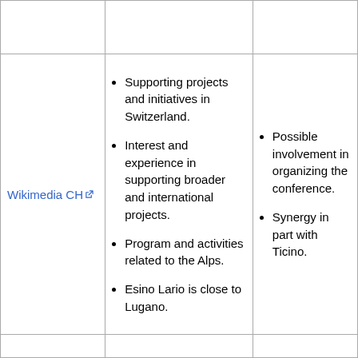|  |  |  |
| --- | --- | --- |
|  |  |  |
| Wikimedia CH | Supporting projects and initiatives in Switzerland.
Interest and experience in supporting broader and international projects.
Program and activities related to the Alps.
Esino Lario is close to Lugano. | Possible involvement in organizing the conference.
Synergy in part with Ticino. |
|  |  |  |